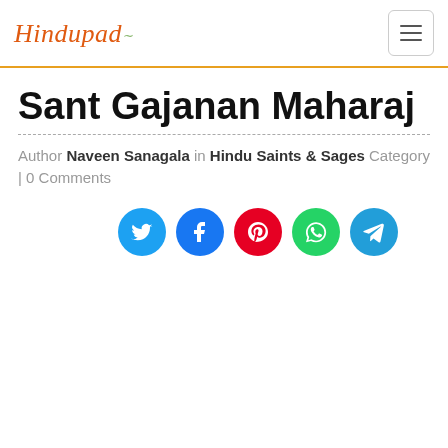Hindupad
Sant Gajanan Maharaj
Author Naveen Sanagala in Hindu Saints & Sages Category | 0 Comments
[Figure (infographic): Social sharing icons: Twitter (blue), Facebook (dark blue), Pinterest (red), WhatsApp (green), Telegram (light blue)]